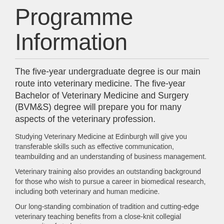Programme Information
The five-year undergraduate degree is our main route into veterinary medicine. The five-year Bachelor of Veterinary Medicine and Surgery (BVM&S) degree will prepare you for many aspects of the veterinary profession.
Studying Veterinary Medicine at Edinburgh will give you transferable skills such as effective communication, teambuilding and an understanding of business management.
Veterinary training also provides an outstanding background for those who wish to pursue a career in biomedical research, including both veterinary and human medicine.
Our long-standing combination of tradition and cutting-edge veterinary teaching benefits from a close-knit collegial community of students.